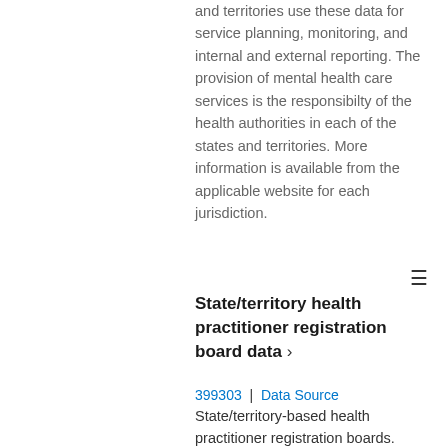and territories use these data for service planning, monitoring, and internal and external reporting. The provision of mental health care services is the responsibilty of the health authorities in each of the states and territories. More information is available from the applicable website for each jurisdiction.
State/territory health practitioner registration board data ›
399303 | Data Source
State/territory-based health practitioner registration boards. Currently each state and territory has an individual registration board for